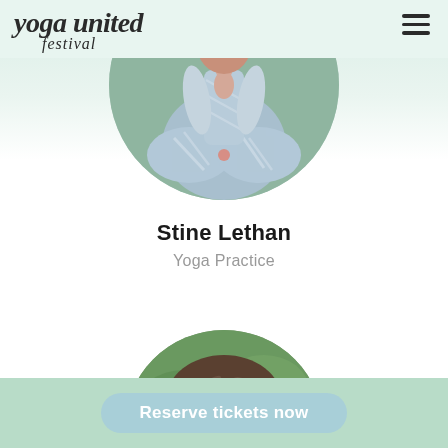yoga united festival
[Figure (photo): Circular cropped photo of Stine Lethan, a woman in yoga pose wearing zebra-print outfit, seated cross-legged outdoors with green foliage background]
Stine Lethan
Yoga Practice
[Figure (photo): Partial circular cropped photo of a second instructor, showing top of head with curly brown hair against green outdoor background]
Reserve tickets now